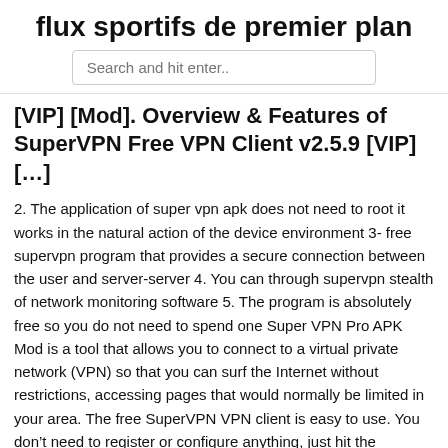flux sportifs de premier plan
Search and hit enter..
[VIP] [Mod]. Overview & Features of SuperVPN Free VPN Client v2.5.9 [VIP] [...]
2. The application of super vpn apk does not need to root it works in the natural action of the device environment 3- free supervpn program that provides a secure connection between the user and server-server 4. You can through supervpn stealth of network monitoring software 5. The program is absolutely free so you do not need to spend one Super VPN Pro APK Mod is a tool that allows you to connect to a virtual private network (VPN) so that you can surf the Internet without restrictions, accessing pages that would normally be limited in your area. The free SuperVPN VPN client is easy to use. You don't need to register or configure anything, just hit the Connect button and within seconds you can browse freely and safely. UFO VPN is a VPN proxy created by Dreamfii, specially designed for Android devices with a UFO-fast speed,